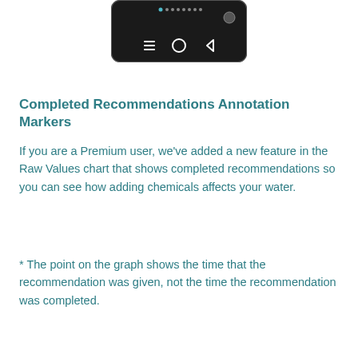[Figure (screenshot): Bottom portion of a smartphone screen showing navigation bar with three buttons (menu, home, back) and a small circular icon in the upper right.]
Completed Recommendations Annotation Markers
If you are a Premium user, we've added a new feature in the Raw Values chart that shows completed recommendations so you can see how adding chemicals affects your water.
* The point on the graph shows the time that the recommendation was given, not the time the recommendation was completed.